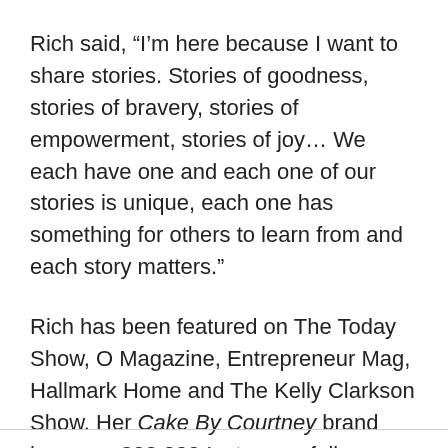Rich said, “I’m here because I want to share stories. Stories of goodness, stories of bravery, stories of empowerment, stories of joy… We each have one and each one of our stories is unique, each one has something for others to learn from and each story matters.”
Rich has been featured on The Today Show, O Magazine, Entrepreneur Mag, Hallmark Home and The Kelly Clarkson Show. Her Cake By Courtney brand has over 300,000 Instagram followers, 5 million monthly views on Pinterest, and nearly 500,000 monthly views on her blog.